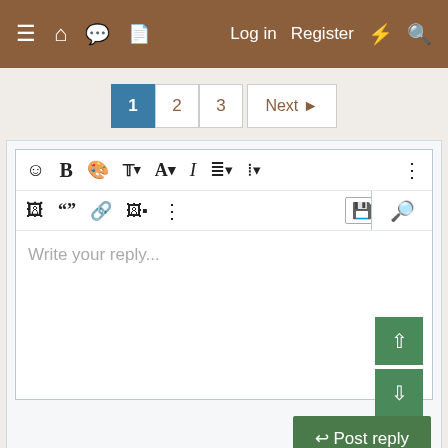[Figure (screenshot): Forum website navigation bar with menu icon, home icon, forum icon, document icon on left, and Log in, Register, lightning bolt, and search icons on right, brown background]
[Figure (screenshot): Pagination controls showing pages 1 (active, blue), 2, 3, and Next button]
[Figure (screenshot): Rich text editor reply box with two toolbar rows containing formatting icons (emoji, bold, color, text size, font, italic, list, align, more), and a second row with image, quote, link, media, more, save, more icons, and a preview icon. The text area shows placeholder text 'Write your reply...' with scroll up/down buttons on the right.]
Write your reply...
[Figure (screenshot): Post reply button (green) and close X button]
Similar threads